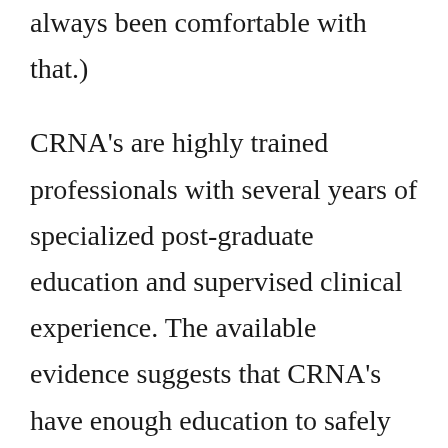always been comfortable with that.) CRNA's are highly trained professionals with several years of specialized post-graduate education and supervised clinical experience. The available evidence suggests that CRNA's have enough education to safely administer anesthesia and we should let them do that. The Institute of Medicine of the National Academies so concluded in 2011, stating in their report on the Future of Nursing: